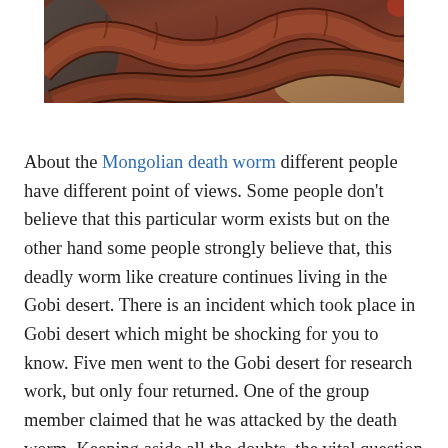[Figure (photo): Close-up photograph of reddish-brown worm-like creature or creatures, possibly in a desert or rock environment]
About the Mongolian death worm different people have different point of views. Some people don't believe that this particular worm exists but on the other hand some people strongly believe that, this deadly worm like creature continues living in the Gobi desert. There is an incident which took place in Gobi desert which might be shocking for you to know. Five men went to the Gobi desert for research work, but only four returned. One of the group member claimed that he was attacked by the death worm. Keeping aside all the doubts, the vital question is, do this Mongolian death worm exists or not?